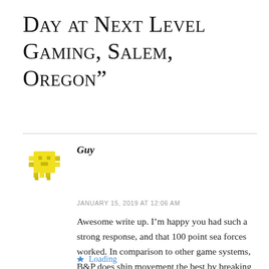Day at Next Level Gaming, Salem, Oregon”
JANUARY 15, 2019 AT 12:06 AM
Guy
Awesome write up. I’m happy you had such a strong response, and that 100 point sea forces worked. In comparison to other game systems, B&P does ship movement the best by breaking it up into gradual moves.
Loading